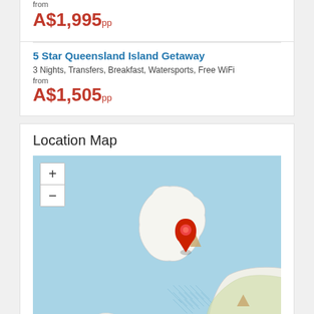from
A$1,995pp
5 Star Queensland Island Getaway
3 Nights, Transfers, Breakfast, Watersports, Free WiFi
from
A$1,505pp
Location Map
[Figure (map): Interactive map showing a Queensland island location with a red map pin marker. The map shows ocean (blue) and land masses. A zoom control (+/-) is visible in the top left. Attribution reads: Leaflet | © OpenStreetMap]